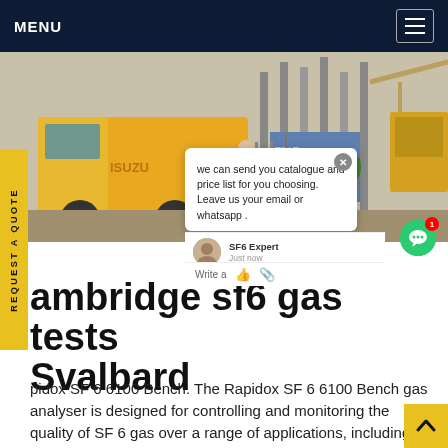MENU
[Figure (photo): Yellow Isuzu truck at an industrial/electrical substation site with cranes and workers in background]
REQUEST A QUOTE
we can send you catalogue and price list for you choosing. Leave us your email or whatsapp .
ambridge sf6 gas tests Svalbard
pidox SF 6 6100 Bench. The Rapidox SF 6 6100 Bench gas analyser is designed for controlling and monitoring the quality of SF 6 gas over a range of applications, including medium high voltage gas